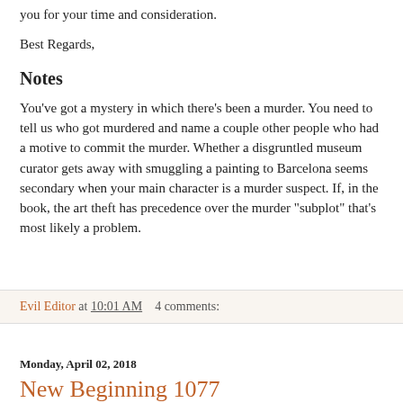you for your time and consideration.
Best Regards,
Notes
You've got a mystery in which there's been a murder. You need to tell us who got murdered and name a couple other people who had a motive to commit the murder. Whether a disgruntled museum curator gets away with smuggling a painting to Barcelona seems secondary when your main character is a murder suspect. If, in the book, the art theft has precedence over the murder "subplot" that's most likely a problem.
Evil Editor at 10:01 AM   4 comments:
Monday, April 02, 2018
New Beginning 1077